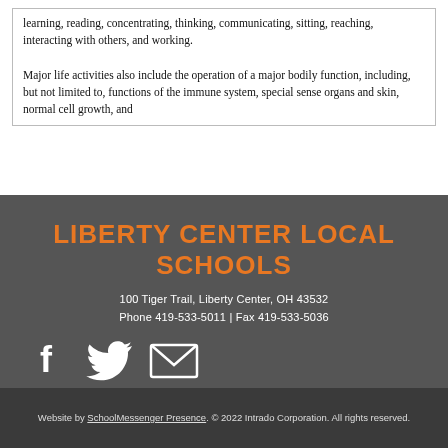learning, reading, concentrating, thinking, communicating, sitting, reaching, interacting with others, and working.

Major life activities also include the operation of a major bodily function, including, but not limited to, functions of the immune system, special sense organs and skin, normal cell growth, and
LIBERTY CENTER LOCAL SCHOOLS
100 Tiger Trail, Liberty Center, OH 43532
Phone 419-533-5011 | Fax 419-533-5036
[Figure (infographic): Social media icons: Facebook (f), Twitter (bird), and email (envelope) icons in white on dark background]
Website by SchoolMessenger Presence. © 2022 Intrado Corporation. All rights reserved.